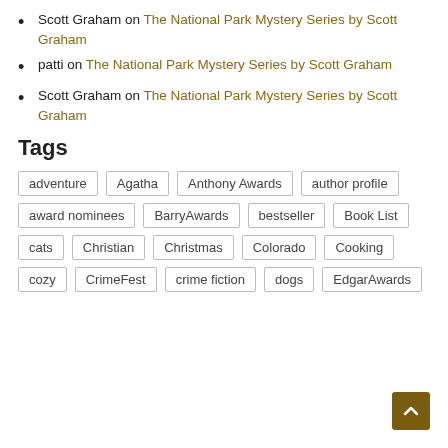Scott Graham on The National Park Mystery Series by Scott Graham
patti on The National Park Mystery Series by Scott Graham
Scott Graham on The National Park Mystery Series by Scott Graham
Tags
adventure | Agatha | Anthony Awards | author profile | award nominees | BarryAwards | bestseller | Book List | cats | Christian | Christmas | Colorado | Cooking | cozy | CrimeFest | crime fiction | dogs | EdgarAwards